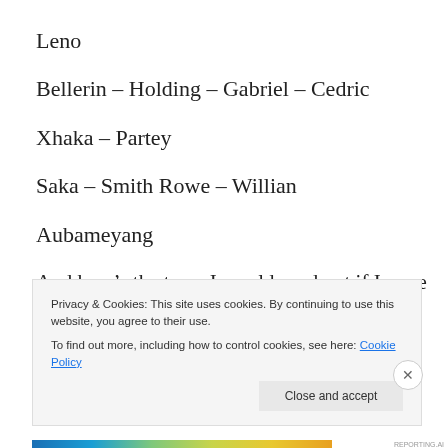Leno
Bellerin – Holding – Gabriel – Cedric
Xhaka – Partey
Saka – Smith Rowe – Willian
Aubameyang
And here's the team I would send out if I were the boss:
R
Privacy & Cookies: This site uses cookies. By continuing to use this website, you agree to their use.
To find out more, including how to control cookies, see here: Cookie Policy
Close and accept